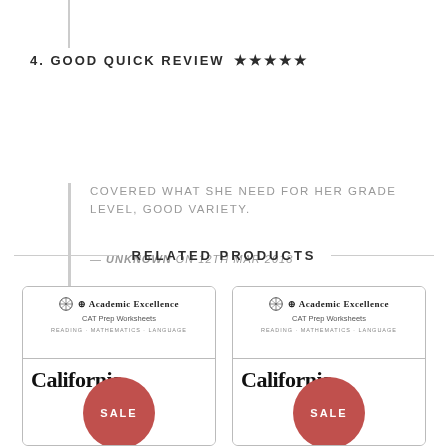4. GOOD QUICK REVIEW ★★★★★
COVERED WHAT SHE NEED FOR HER GRADE LEVEL, GOOD VARIETY.
— UNKNOWN ON 12TH MAR 2018
RELATED PRODUCTS
[Figure (illustration): Book cover for Academic Excellence CAT Prep Worksheets - California, with a red SALE circle overlay]
[Figure (illustration): Book cover for Academic Excellence CAT Prep Worksheets - California, with a red SALE circle overlay]